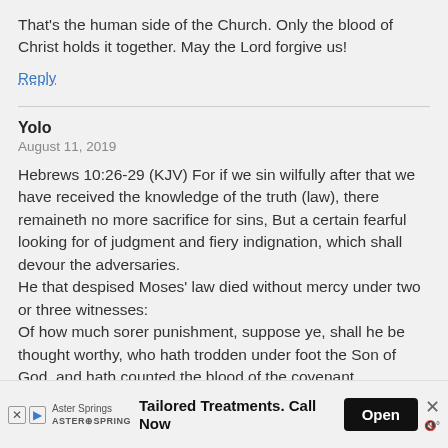That's the human side of the Church. Only the blood of Christ holds it together. May the Lord forgive us!
Reply
Yolo
August 11, 2019
Hebrews 10:26-29 (KJV) For if we sin wilfully after that we have received the knowledge of the truth (law), there remaineth no more sacrifice for sins, But a certain fearful looking for of judgment and fiery indignation, which shall devour the adversaries.
He that despised Moses' law died without mercy under two or three witnesses:
Of how much sorer punishment, suppose ye, shall he be thought worthy, who hath trodden under foot the Son of God, and hath counted the blood of the covenant
[Figure (other): Advertisement bar for Aster Springs: Tailored Treatments. Call Now. With Open button and close/mute icons.]